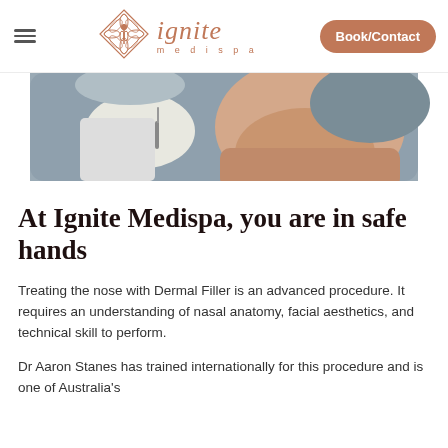ignite medispa | Book/Contact
[Figure (photo): Close-up photo of a medical professional in gloves administering a dermal filler injection to a patient's face/jaw area against a grey background.]
At Ignite Medispa, you are in safe hands
Treating the nose with Dermal Filler is an advanced procedure. It requires an understanding of nasal anatomy, facial aesthetics, and technical skill to perform.
Dr Aaron Stanes has trained internationally for this procedure and is one of Australia's